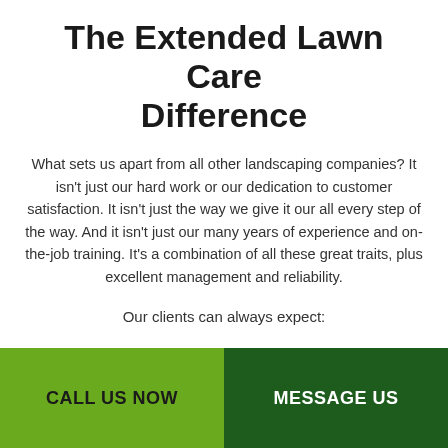The Extended Lawn Care Difference
What sets us apart from all other landscaping companies? It isn’t just our hard work or our dedication to customer satisfaction. It isn’t just the way we give it our all every step of the way. And it isn’t just our many years of experience and on-the-job training. It’s a combination of all these great traits, plus excellent management and reliability.
Our clients can always expect:
CALL US NOW | MESSAGE US